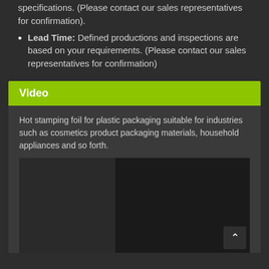specifications. (Please contact our sales representatives for confirmation).
Lead Time: Defined productions and inspections are based on your requirements. (Please contact our sales representatives for confirmation)
Video
Hot stamping foil for plastic packaging suitable for industries such as cosmetics product packaging materials, household appliances and so forth.
[Figure (photo): Video thumbnail showing cosmetic pens/markers and a purple cosmetic product placed on a decorative surface, with a play button overlay.]